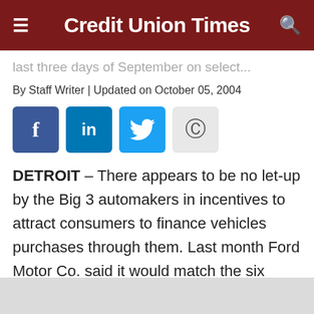Credit Union Times
last three days of September on select...
By Staff Writer | Updated on October 05, 2004
[Figure (other): Social share buttons: Facebook, LinkedIn, Twitter, Copyright]
DETROIT – There appears to be no let-up by the Big 3 automakers in incentives to attract consumers to finance vehicles purchases through them. Last month Ford Motor Co. said it would match the six